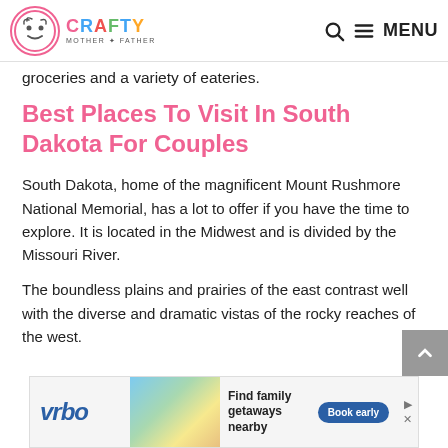CRAFTY MOTHER + FATHER | MENU
groceries and a variety of eateries.
Best Places To Visit In South Dakota For Couples
South Dakota, home of the magnificent Mount Rushmore National Memorial, has a lot to offer if you have the time to explore. It is located in the Midwest and is divided by the Missouri River.
The boundless plains and prairies of the east contrast well with the diverse and dramatic vistas of the rocky reaches of the west.
[Figure (other): Vrbo advertisement banner: Find family getaways nearby, Book early button]